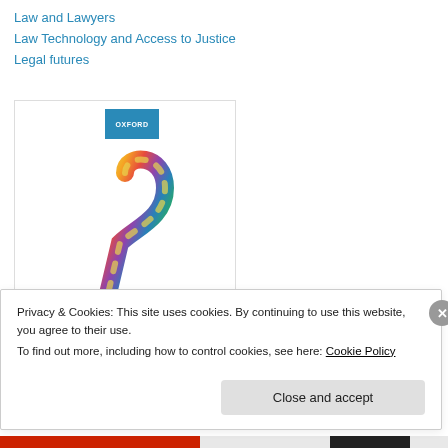Law and Lawyers
Law Technology and Access to Justice
Legal futures
[Figure (photo): Book cover for 'Introduction to the English Legal System' published by Oxford University Press, featuring a colorful candy-cane shaped object on white background]
Privacy & Cookies: This site uses cookies. By continuing to use this website, you agree to their use.
To find out more, including how to control cookies, see here: Cookie Policy
Close and accept